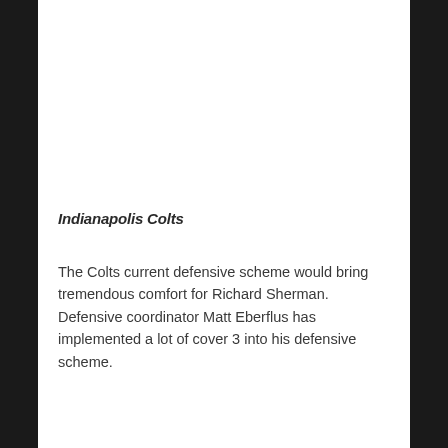Indianapolis Colts
The Colts current defensive scheme would bring tremendous comfort for Richard Sherman. Defensive coordinator Matt Eberflus has implemented a lot of cover 3 into his defensive scheme.